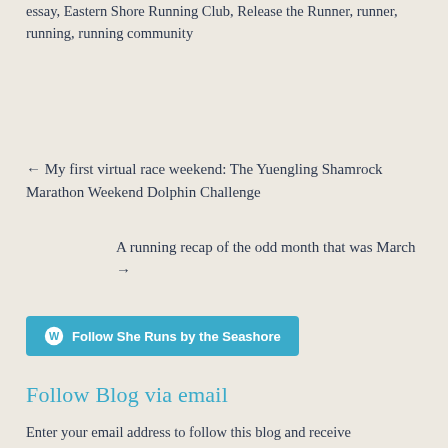essay, Eastern Shore Running Club, Release the Runner, runner, running, running community
← My first virtual race weekend: The Yuengling Shamrock Marathon Weekend Dolphin Challenge
A running recap of the odd month that was March →
[Figure (other): Follow She Runs by the Seashore button with WordPress logo]
Follow Blog via email
Enter your email address to follow this blog and receive